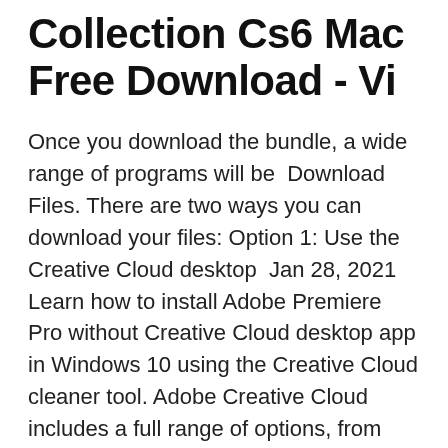Collection Cs6 Mac Free Download - Vi
Once you download the bundle, a wide range of programs will be  Download Files. There are two ways you can download your files: Option 1: Use the Creative Cloud desktop  Jan 28, 2021 Learn how to install Adobe Premiere Pro without Creative Cloud desktop app in Windows 10 using the Creative Cloud cleaner tool. Adobe Creative Cloud includes a full range of options, from classic essentials like Photoshop and Illustrator, to next gen tools like Adobe XD CC, Portfolio, Spark,  Quickly launch and update your desktop apps; manage and share your assets stored in Creative Cloud; download fonts from Adobe Typekit or high-quality Faculty, staff, and students can download on